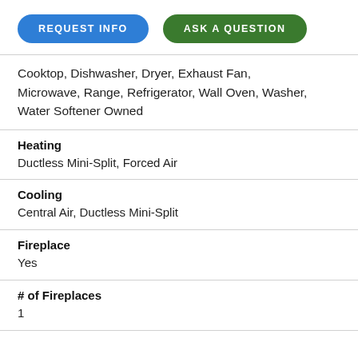REQUEST INFO | ASK A QUESTION
Cooktop, Dishwasher, Dryer, Exhaust Fan, Microwave, Range, Refrigerator, Wall Oven, Washer, Water Softener Owned
Heating
Ductless Mini-Split, Forced Air
Cooling
Central Air, Ductless Mini-Split
Fireplace
Yes
# of Fireplaces
1